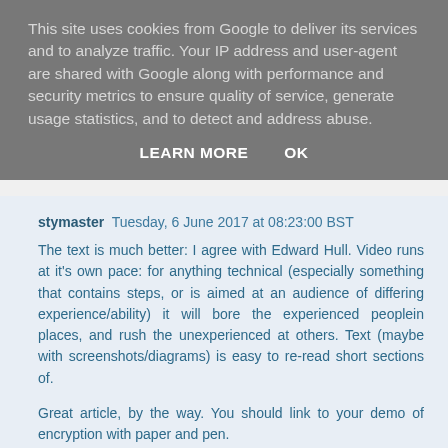This site uses cookies from Google to deliver its services and to analyze traffic. Your IP address and user-agent are shared with Google along with performance and security metrics to ensure quality of service, generate usage statistics, and to detect and address abuse.
LEARN MORE   OK
stymaster  Tuesday, 6 June 2017 at 08:23:00 BST
The text is much better: I agree with Edward Hull. Video runs at it's own pace: for anything technical (especially something that contains steps, or is aimed at an audience of differing experience/ability) it will bore the experienced peoplein places, and rush the unexperienced at others. Text (maybe with screenshots/diagrams) is easy to re-read short sections of.
Great article, by the way. You should link to your demo of encryption with paper and pen.
Reply